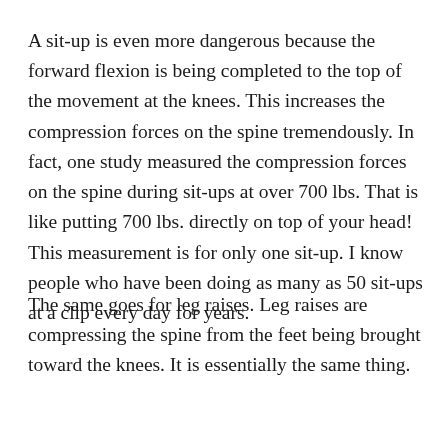A sit-up is even more dangerous because the forward flexion is being completed to the top of the movement at the knees. This increases the compression forces on the spine tremendously. In fact, one study measured the compression forces on the spine during sit-ups at over 700 lbs. That is like putting 700 lbs. directly on top of your head! This measurement is for only one sit-up. I know people who have been doing as many as 50 sit-ups at a clip every day for years.
The same goes for leg raises. Leg raises are compressing the spine from the feet being brought toward the knees. It is essentially the same thing.